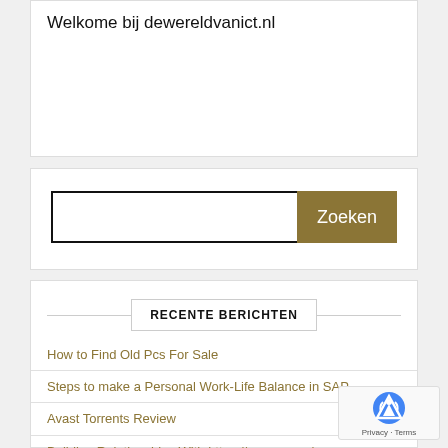Welkome bij dewereldvanict.nl
[Figure (other): Search bar with text input field and 'Zoeken' button]
RECENTE BERICHTEN
How to Find Old Pcs For Sale
Steps to make a Personal Work-Life Balance in SAP
Avast Torrents Review
Building Relationships With https://gyazo.com/
3 Ways To Master https://gyazo.com/ Without Breaking A Sweat